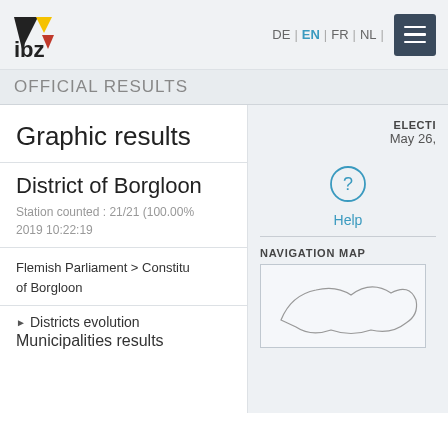[Figure (logo): IBZ logo with black triangle, yellow triangle, red inverted triangle and 'ibz' text]
DE | EN | FR | NL |
OFFICIAL RESULTS
Graphic results
ELECTI
May 26,
District of Borgloon
Station counted : 21/21 (100.00%
2019 10:22:19
? Help
Flemish Parliament > Constitu
of Borgloon
NAVIGATION MAP
▶ Districts evolution
Municipalities results
[Figure (map): Navigation map showing outline of district]